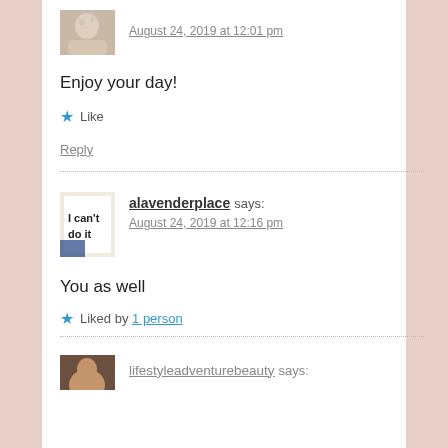August 24, 2019 at 12:01 pm
Enjoy your day!
Like
Reply
alavenderplace says:
August 24, 2019 at 12:16 pm
You as well
Liked by 1 person
lifestyleadventurebeauty says: